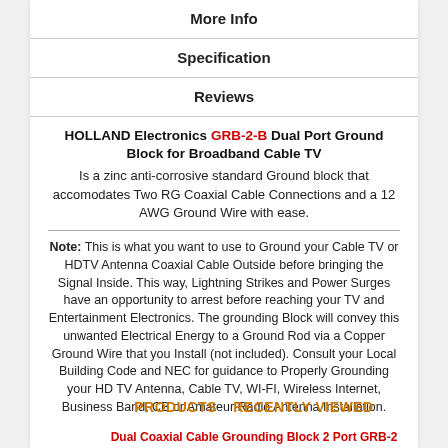More Info
Specification
Reviews
HOLLAND Electronics GRB-2-B Dual Port Ground Block for Broadband Cable TV
Is a zinc anti-corrosive standard Ground block that accomodates Two RG Coaxial Cable Connections and a 12 AWG Ground Wire with ease.
Note: This is what you want to use to Ground your Cable TV or HDTV Antenna Coaxial Cable Outside before bringing the Signal Inside. This way, Lightning Strikes and Power Surges have an opportunity to arrest before reaching your TV and Entertainment Electronics. The grounding Block will convey this unwanted Electrical Energy to a Ground Rod via a Copper Ground Wire that you Install (not included). Consult your Local Building Code and NEC for guidance to Properly Grounding your HD TV Antenna, Cable TV, WI-FI, Wireless Internet, Business Band, CB or Amateur Radio Antenna Installation.
PRODUCTS   RECENTLY VIEWED
Dual Coaxial Cable Grounding Block 2 Port GRB-2